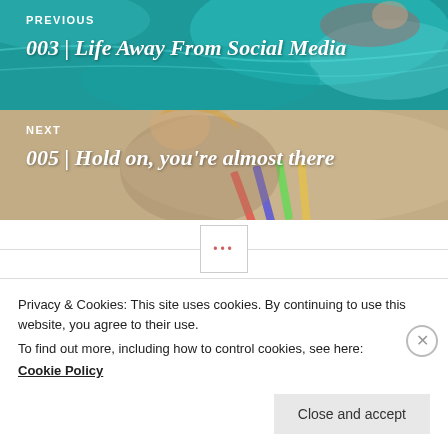[Figure (photo): Navigation block showing PREVIOUS post: '003 | Life Away From Social Media' with teal/aqua pool water background photo]
PREVIOUS
003 | Life Away From Social Media
[Figure (photo): Navigation block showing NEXT post: '005 | Hold on, you’re almost there' with warm beige/tan background photo of person with pencils]
NEXT
005 | Hold on, you’re almost there
[Figure (other): Separator with three pink dots inside a square box with horizontal lines]
Quote
Privacy & Cookies: This site uses cookies. By continuing to use this website, you agree to their use.
To find out more, including how to control cookies, see here:
Cookie Policy
Close and accept